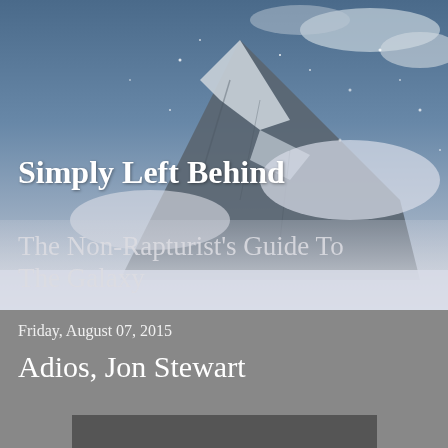[Figure (photo): A dramatic mountain peak partially obscured by snow, mist, and clouds against a blue-grey sky]
Simply Left Behind
The Non-Rapturist's Guide To The Galaxy
Friday, August 07, 2015
Adios, Jon Stewart
[Figure (other): Dark grey/black bar at the bottom of the page, partially visible]